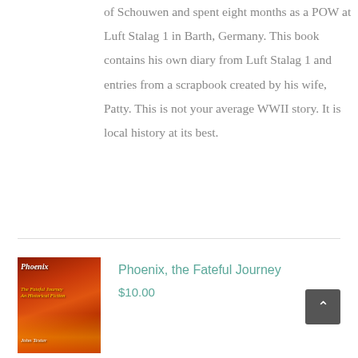of Schouwen and spent eight months as a POW at Luft Stalag 1 in Barth, Germany. This book contains his own diary from Luft Stalag 1 and entries from a scrapbook created by his wife, Patty. This is not your average WWII story. It is local history at its best.
[Figure (photo): Book cover for 'Phoenix, the Fateful Journey' by John Texter, showing fiery orange and red flames background with stylized italic title text in red/orange and author name at bottom.]
Phoenix, the Fateful Journey
$10.00